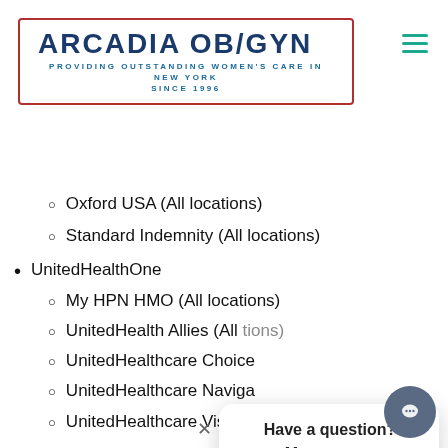ARCADIA OB/GYN — PROVIDING OUTSTANDING WOMEN'S CARE IN NEW YORK SINCE 1996
Oxford USA (All locations)
Standard Indemnity (All locations)
UnitedHealthOne
My HPN HMO (All locations)
UnitedHealth Allies (All locations)
UnitedHealthcare Choice
UnitedHealthcare Naviga
UnitedHealthcare Vision
US Health Group
Private Healthcare Systems (PHCS) (PPO) (All locations)
Wellmark Blue Cross Blue Shield
Have a question? Message us here!